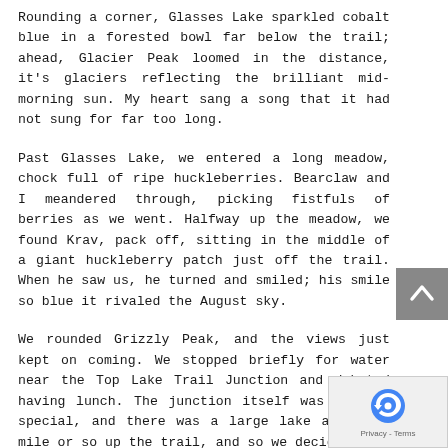Rounding a corner, Glasses Lake sparkled cobalt blue in a forested bowl far below the trail; ahead, Glacier Peak loomed in the distance, it's glaciers reflecting the brilliant mid-morning sun. My heart sang a song that it had not sung for far too long.
Past Glasses Lake, we entered a long meadow, chock full of ripe huckleberries. Bearclaw and I meandered through, picking fistfuls of berries as we went. Halfway up the meadow, we found Krav, pack off, sitting in the middle of a giant huckleberry patch just off the trail. When he saw us, he turned and smiled; his smile so blue it rivaled the August sky.
We rounded Grizzly Peak, and the views just kept on coming. We stopped briefly for water near the Top Lake Trail Junction and debated having lunch. The junction itself was nothing special, and there was a large lake a half a mile or so up the trail, and so we decided to
[Figure (other): Scroll-to-top button (gray square with upward-pointing chevron arrow) on the right side of the page]
[Figure (other): Google reCAPTCHA widget in bottom-right corner showing reCAPTCHA logo and 'Privacy - Terms' text]